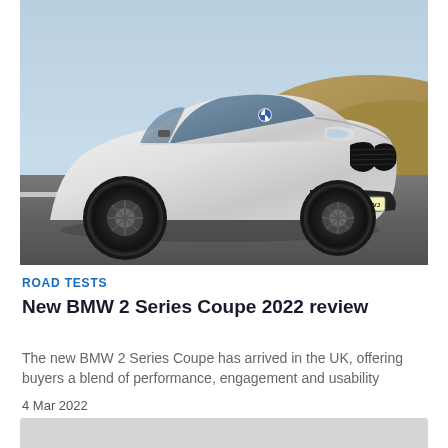[Figure (photo): White BMW 2 Series Coupe driving on a road with registration plate YB71 PVJ, shot from a front-three-quarter angle with a blue sky and earthy terrain in the background]
ROAD TESTS
New BMW 2 Series Coupe 2022 review
The new BMW 2 Series Coupe has arrived in the UK, offering buyers a blend of performance, engagement and usability
4 Mar 2022